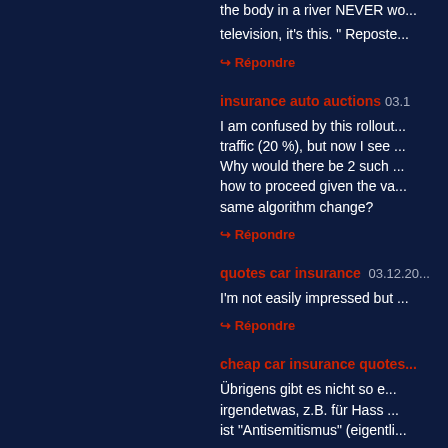the body in a river NEVER wo... television, it's this. " Reposte...
↪ Répondre
insurance auto auctions 03.1...
I am confused by this rollout... traffic (20 %), but now I see ... Why would there be 2 such ... how to proceed given the va... same algorithm change?
↪ Répondre
quotes car insurance 03.12.20...
I'm not easily impressed but ...
↪ Répondre
cheap car insurance quotes...
Übrigens gibt es nicht so e... irgendetwas, z.B. für Hass ... ist "Antisemitismus" (eigentli...